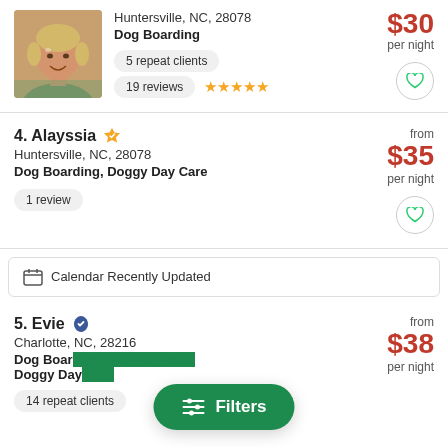[Figure (photo): Profile photo of an older woman with short blond hair, smiling outdoors]
Huntersville, NC, 28078
Dog Boarding
$30 per night
5 repeat clients
19 reviews ★★★★★
4. Alayssia
Huntersville, NC, 28078
Dog Boarding, Doggy Day Care
from $35 per night
1 review
Calendar Recently Updated
5. Evie
Charlotte, NC, 28216
Dog Boarding, Drop-In Visits, Doggy Day Care
from $38 per night
14 repeat clients
Filters